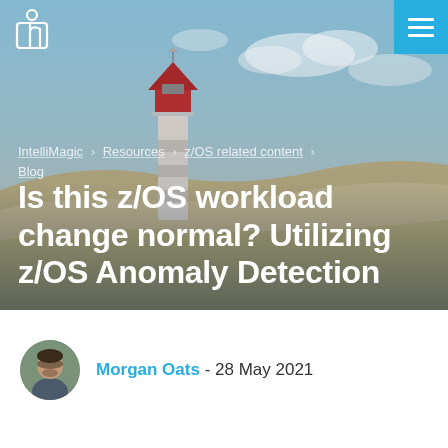[Figure (photo): Hero banner with lighthouse and coastal dunes background, with IntelliMagic logo, search icon, and hamburger menu in nav bar]
IntelliMagic > Resources > z/OS related content > Blog
Is this z/OS workload change normal? Utilizing z/OS Anomaly Detection
Morgan Oats - 28 May 2021